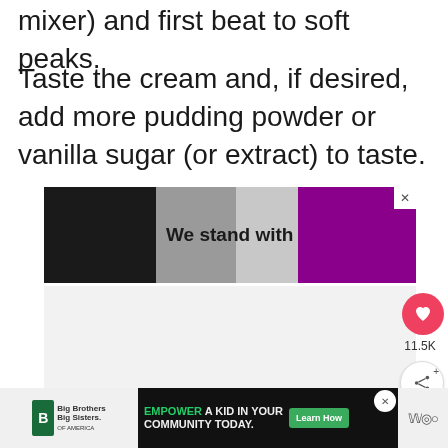mixer) and first beat to soft peaks.
Taste the cream and, if desired, add more pudding powder or vanilla sugar (or extract) to taste.
[Figure (screenshot): Advertisement banner reading 'We stand with you.' with black, gray, and purple color blocks, with a close X button]
[Figure (screenshot): Gray content area below the ad banner]
[Figure (screenshot): Heart/like button showing 11.5K likes and a share button]
[Figure (screenshot): Bottom banner ad for Big Brothers Big Sisters: 'EMPOWER A KID IN YOUR COMMUNITY TODAY.' with a Learn How button]